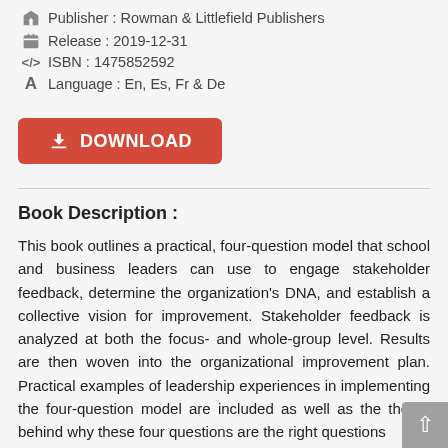Publisher : Rowman & Littlefield Publishers
Release : 2019-12-31
ISBN : 1475852592
Language : En, Es, Fr & De
[Figure (other): Red download button with download icon and text DOWNLOAD]
Book Description :
This book outlines a practical, four-question model that school and business leaders can use to engage stakeholder feedback, determine the organization's DNA, and establish a collective vision for improvement. Stakeholder feedback is analyzed at both the focus- and whole-group level. Results are then woven into the organizational improvement plan. Practical examples of leadership experiences in implementing the four-question model are included as well as the theory behind why these four questions are the right questions